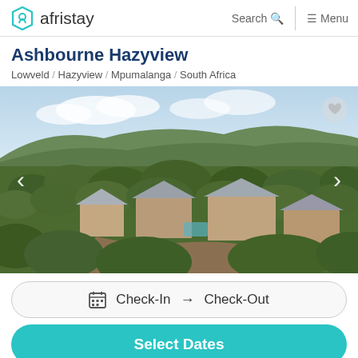afristay | Search | Menu
Ashbourne Hazyview
Lowveld / Hazyview / Mpumalanga / South Africa
[Figure (photo): Aerial drone photo of Ashbourne Hazyview property showing multiple lodge buildings with metal roofs surrounded by dense green bushveld vegetation, with a mountain range in the background under a partly cloudy sky.]
Check-In → Check-Out
Select Dates